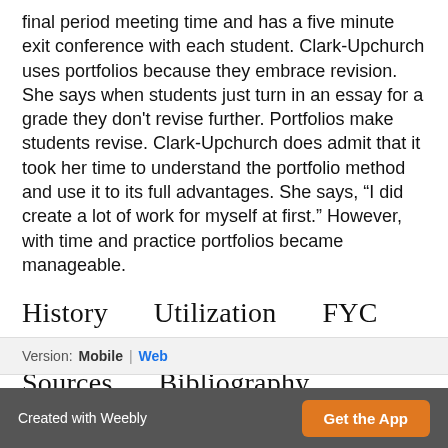final period meeting time and has a five minute exit conference with each student. Clark-Upchurch uses portfolios because they embrace revision. She says when students just turn in an essay for a grade they don't revise further. Portfolios make students revise. Clark-Upchurch does admit that it took her time to understand the portfolio method and use it to its full advantages. She says, “I did create a lot of work for myself at first.” However, with time and practice portfolios became manageable.
History Utilization FYC Samples Sources Bibliography
Version: Mobile | Web
Created with Weebly   Get the App